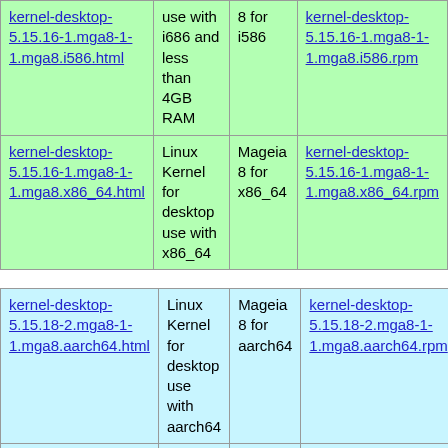| kernel-desktop-5.15.16-1.mga8-1-1.mga8.i586.html | use with i686 and less than 4GB RAM | 8 for i586 | kernel-desktop-5.15.16-1.mga8-1-1.mga8.i586.rpm |
| kernel-desktop-5.15.16-1.mga8-1-1.mga8.x86_64.html | Linux Kernel for desktop use with x86_64 | Mageia 8 for x86_64 | kernel-desktop-5.15.16-1.mga8-1-1.mga8.x86_64.rpm |
| kernel-desktop-5.15.18-2.mga8-1-1.mga8.aarch64.html | Linux Kernel for desktop use with aarch64 | Mageia 8 for aarch64 | kernel-desktop-5.15.18-2.mga8-1-1.mga8.aarch64.rpm |
| kernel-desktop-5.15.18-2.mga8-1-1.mga8.armv7hl.html | Linux Kernel for desktop use with arm | Mageia 8 for armv7hl | kernel-desktop-5.15.18-2.mga8-1-1.mga8.armv7hl.rpm |